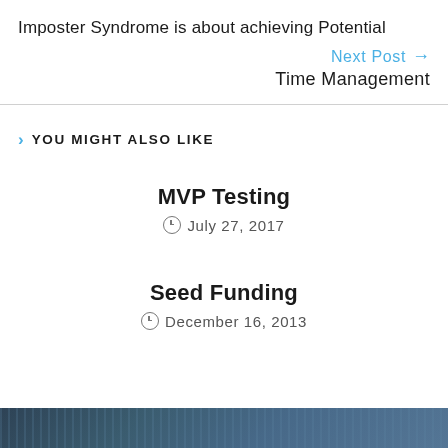Imposter Syndrome is about achieving Potential
Next Post → Time Management
> YOU MIGHT ALSO LIKE
MVP Testing
July 27, 2017
Seed Funding
December 16, 2013
[Figure (photo): Dark landscape or nature image at bottom of page]